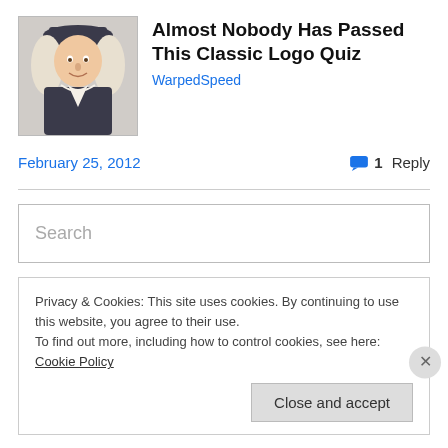[Figure (illustration): Illustration of a Quaker-style figure (man in dark coat, white cravat, white wig, and dark hat) — resembling the Quaker Oats mascot]
Almost Nobody Has Passed This Classic Logo Quiz
WarpedSpeed
February 25, 2012
1 Reply
Search
Privacy & Cookies: This site uses cookies. By continuing to use this website, you agree to their use.
To find out more, including how to control cookies, see here: Cookie Policy
Close and accept